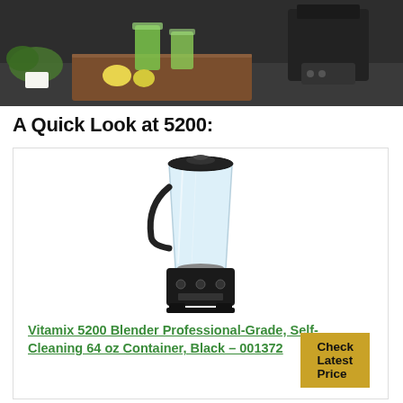[Figure (photo): Kitchen scene with blender, green smoothies in glasses, fruits on a wooden cutting board, dark background]
A Quick Look at 5200:
[Figure (photo): Vitamix 5200 Blender Professional-Grade, Self-Cleaning 64 oz Container, Black product image on white background]
Vitamix 5200 Blender Professional-Grade, Self-Cleaning 64 oz Container, Black – 001372
Check Latest Price